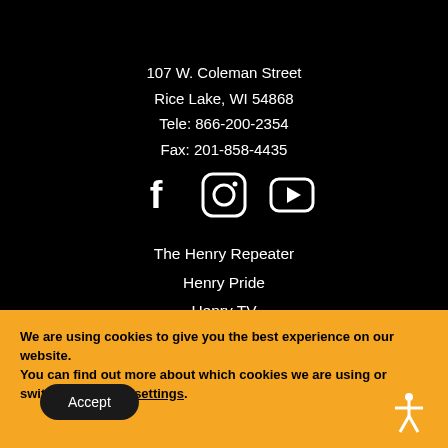107 W. Coleman Street
Rice Lake, WI 54868
Tele: 866-200-2354
Fax: 201-858-4435
[Figure (other): Social media icons: Facebook, Instagram, YouTube]
The Henry Repeater
Henry Pride
Henry TV
Contact Henry
Order a Catalog
We are using cookies to give you the best experience on our website.
You can find out more about which cookies we are using or switch them off in settings.